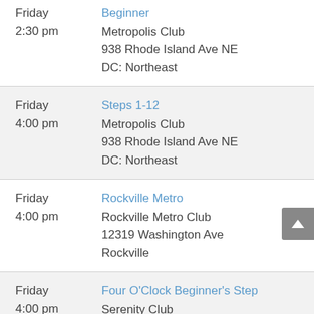Friday 2:30 pm | Beginner | Metropolis Club | 938 Rhode Island Ave NE | DC: Northeast
Friday 4:00 pm | Steps 1-12 | Metropolis Club | 938 Rhode Island Ave NE | DC: Northeast
Friday 4:00 pm | Rockville Metro | Rockville Metro Club | 12319 Washington Ave | Rockville
Friday 4:00 pm | Four O'Clock Beginner's Step | Serenity Club | 8121 Richmond Hwy | Alexandria
Friday 4:00 pm | Before Dinner | Unity Club | 116 W Broad St